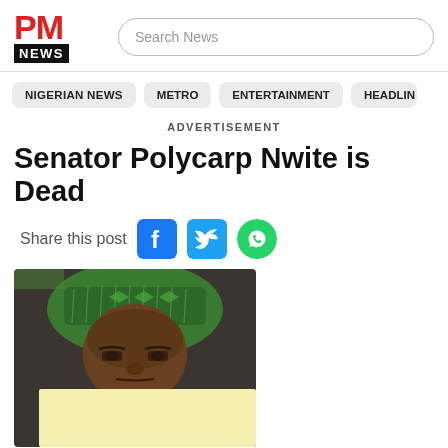PM NEWS | Search News
NIGERIAN NEWS  METRO  ENTERTAINMENT  HEADLIN
ADVERTISEMENT
Senator Polycarp Nwite is Dead
Share this post
[Figure (photo): Photo of Senator Polycarp Nwite wearing a green traditional cap and dark clothing, with a light yellow advertisement box overlaid at the bottom of the image.]